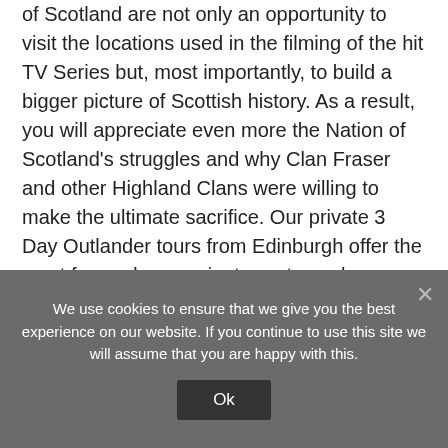of Scotland are not only an opportunity to visit the locations used in the filming of the hit TV Series but, most importantly, to build a bigger picture of Scottish history. As a result, you will appreciate even more the Nation of Scotland's struggles and why Clan Fraser and other Highland Clans were willing to make the ultimate sacrifice. Our private 3 Day Outlander tours from Edinburgh offer the most fun and convenient way to explore Outlander filming locations. See our One Day Outlander Tour – Book our private Outlander Tours and experience the best Outlander Tour of Scotland – Contact us
We use cookies to ensure that we give you the best experience on our website. If you continue to use this site we will assume that you are happy with this.